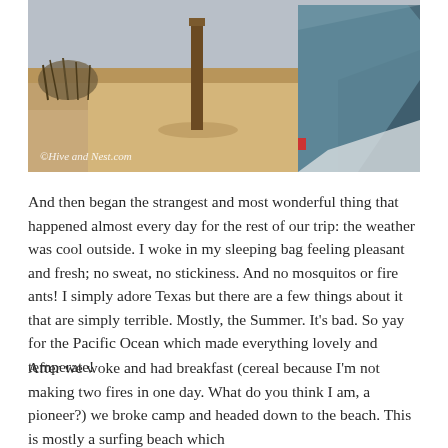[Figure (photo): Outdoor beach/sand camping scene showing sandy ground with dune grass, a wooden post, and a blue tent on the right side. Watermark reads '©Hive and Nest.com' in the lower left.]
And then began the strangest and most wonderful thing that happened almost every day for the rest of our trip: the weather was cool outside. I woke in my sleeping bag feeling pleasant and fresh; no sweat, no stickiness. And no mosquitos or fire ants! I simply adore Texas but there are a few things about it that are simply terrible. Mostly, the Summer. It's bad. So yay for the Pacific Ocean which made everything lovely and temperate!
After we woke and had breakfast (cereal because I'm not making two fires in one day. What do you think I am, a pioneer?) we broke camp and headed down to the beach. This is mostly a surfing beach which